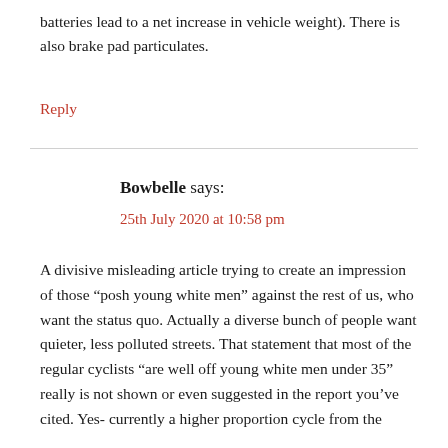batteries lead to a net increase in vehicle weight). There is also brake pad particulates.
Reply
Bowbelle says:
25th July 2020 at 10:58 pm
A divisive misleading article trying to create an impression of those “posh young white men” against the rest of us, who want the status quo. Actually a diverse bunch of people want quieter, less polluted streets. That statement that most of the regular cyclists “are well off young white men under 35” really is not shown or even suggested in the report you’ve cited. Yes- currently a higher proportion cycle from the …